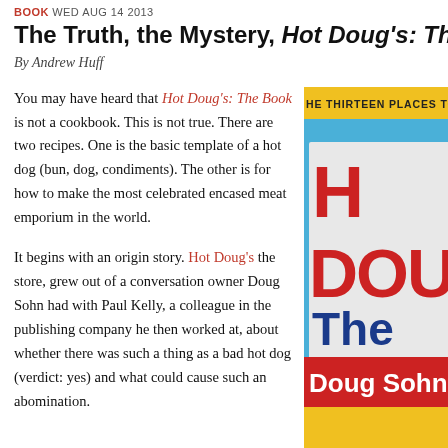BOOK WED AUG 14 2013
The Truth, the Mystery, Hot Doug's: The Book
By Andrew Huff
You may have heard that Hot Doug's: The Book is not a cookbook. This is not true. There are two recipes. One is the basic template of a hot dog (bun, dog, condiments). The other is for how to make the most celebrated encased meat emporium in the world.
[Figure (photo): Book cover of Hot Doug's: The Book by Doug Sohn, showing a storefront sign with the text 'HOT DOU' and 'The' and 'Doug Sohn' visible, with a yellow background strip at top reading 'HE THIRTEEN PLACES TO E']
It begins with an origin story. Hot Doug's the store, grew out of a conversation owner Doug Sohn had with Paul Kelly, a colleague in the publishing company he then worked at, about whether there was such a thing as a bad hot dog (verdict: yes) and what could cause such an abomination.
The conversation turned into a lunch club that scoured the area for the best ho